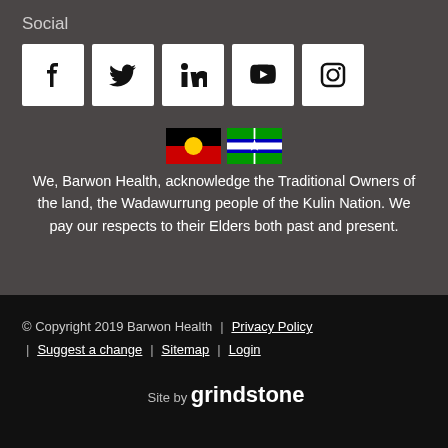Social
[Figure (illustration): Row of five social media icons: Facebook, Twitter, LinkedIn, YouTube, Instagram — each in a white square box]
We, Barwon Health, acknowledge the Traditional Owners of the land, the Wadawurrung people of the Kulin Nation. We pay our respects to their Elders both past and present.
© Copyright 2019 Barwon Health  |  Privacy Policy  |  Suggest a change  |  Sitemap  |  Login
Site by grindstone